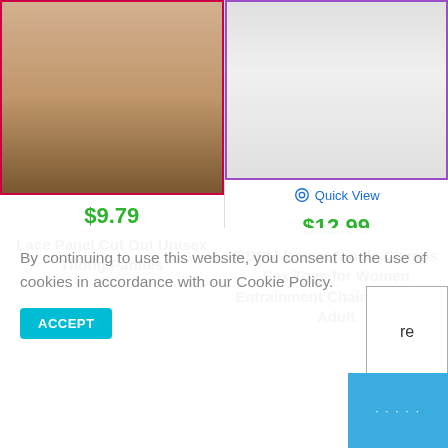[Figure (photo): Product photo of white lace panel cut out thong panties on model]
[Figure (photo): Product photo of silver chain nipple clamps on white background]
Quick View
$9.79
$12.99
Lace Panel Cut Out Unisex Thong Panties
BDSM Breast Nipple Clamps Sex Toys for Women Entrainment Chain Bondage Adult
By continuing to use this website, you consent to the use of cookies in accordance with our Cookie Policy.
ACCEPT